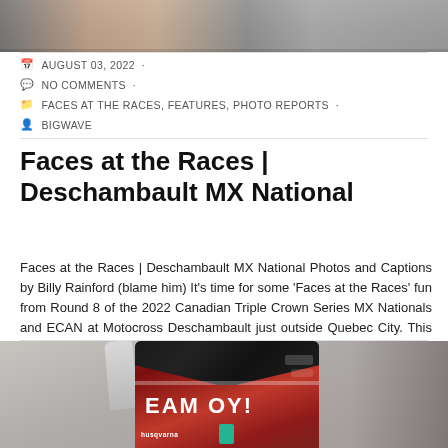[Figure (photo): Partial cropped photo of a motocross rider at top of page]
AUGUST 03, 2022 ·
NO COMMENTS ·
FACES AT THE RACES, FEATURES, PHOTO REPORTS ·
BIGWAVE
Faces at the Races | Deschambault MX National
Faces at the Races | Deschambault MX National Photos and Captions by Billy Rainford (blame him) It's time for some 'Faces at the Races' fun from Round 8 of the 2022 Canadian Triple Crown Series MX Nationals and ECAN at Motocross Deschambault just outside Quebec City. This week, I'm sitting in a Starbucks in Cornwall, Ontario, waiting for the #DMXVan to be fixed. As Emily and I were taking some
[Figure (photo): Motocross rider wearing red and black jersey with team branding, partial torso shot]